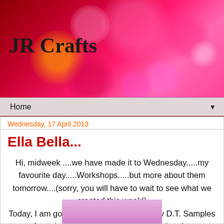[Figure (illustration): Blog header with magenta/pink bokeh light circles on dark red background]
JR Crafts
Home ▼
Wednesday, 17 April 2013
Ella Bella...
Hi, midweek ....we have made it to Wednesday.....my favourite day.....Workshops.....but more about them tomorrow....(sorry, you will have to wait to see what we created this week!)
Today, I am going to share two more of my D.T. Samples from the IndigoBlu t.v show this weekend...
These both use the fabulous Ella Bella stamp...
[Figure (photo): Partial thumbnail of a pink/purple craft image at the bottom of the page]